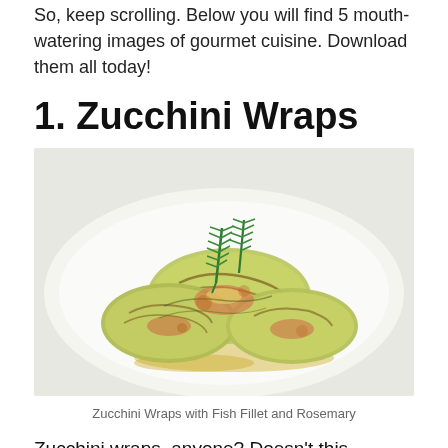So, keep scrolling. Below you will find 5 mouth-watering images of gourmet cuisine. Download them all today!
1. Zucchini Wraps
[Figure (photo): Photo of Zucchini Wraps with Fish Fillet and Rosemary on a white plate]
Zucchini Wraps with Fish Fillet and Rosemary
Zucchini wraps, anyone? Doesn't this